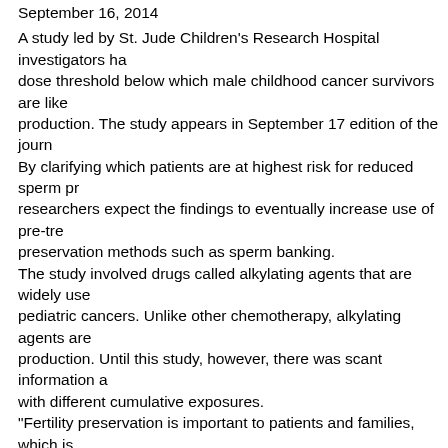September 16, 2014
A study led by St. Jude Children's Research Hospital investigators has identified a dose threshold below which male childhood cancer survivors are likely to retain sperm production. The study appears in September 17 edition of the journal. By clarifying which patients are at highest risk for reduced sperm production, researchers expect the findings to eventually increase use of pre-treatment preservation methods such as sperm banking.
The study involved drugs called alkylating agents that are widely used to treat pediatric cancers. Unlike other chemotherapy, alkylating agents are known to affect sperm production. Until this study, however, there was scant information about patients with different cumulative exposures.
"Fertility preservation is important to patients and families, which is why we offer fertility counseling and preservation for active patients," said the study's corresponding author Daniel Green, M.D., a member of the St. Jude Department of Epidemiology and Cancer Control. "Until now, however, there was little to guide clinicians, families and patients trying to assess the risk alkylating agents posed to production years in the future."
The U.S. is home to at least 328,000 cancer survivors who were age 19 or younger when cancer was diagnosed. With overall childhood cancer survival rates now exceeding 80 percent, that number is expected to grow.
The study involved 214 men whose childhood cancer treatment at St. Jude included cyclophosphamide and other alkylating agents. Their treatment did...